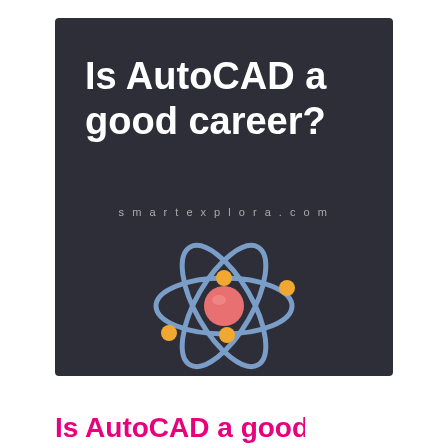[Figure (illustration): Dark card image with bold white text 'Is AutoCAD a good career?', website URL 'smartexplora.com' in small grey letters, and a stylized atom icon with blue elliptical orbits, orange/yellow electron dots, and a pink/red nucleus center.]
Is AutoCAD a good career?